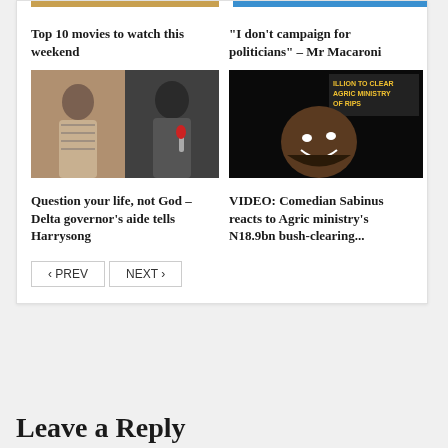Top 10 movies to watch this weekend
“I don’t campaign for politicians” – Mr Macaroni
[Figure (photo): Religion category image showing two men, one in striped shirt and one in dark outfit with microphone]
[Figure (photo): Entertainment category image showing a man smiling against dark background with text overlay about Agric Ministry]
Question your life, not God – Delta governor’s aide tells Harrysong
VIDEO: Comedian Sabinus reacts to Agric ministry’s N18.9bn bush-clearing...
‹ PREV   NEXT ›
Leave a Reply